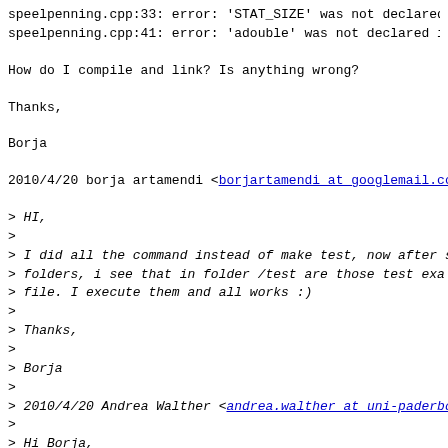speelpenning.cpp:33: error: 'STAT_SIZE' was not declared
speelpenning.cpp:41: error: 'adouble' was not declared i
How do I compile and link? Is anything wrong?
Thanks,
Borja
2010/4/20 borja artamendi <borjartamendi at googlemail.co
> HI,
>
> I did all the command instead of make test, now after s
> folders, i see that in folder /test are those test exa
> file. I execute them and all works :)
>
> Thanks,
>
> Borja
>
> 2010/4/20 Andrea Walther <andrea.walther at uni-paderbo
>
> Hi Borja,
>>
>> >
>> > I execute : ./configure  --with-docexa --with-addexa
>> > compile, from subdirectory examples and it gives me
>>
>> if you unpack the ADOL-C package you should obtain a